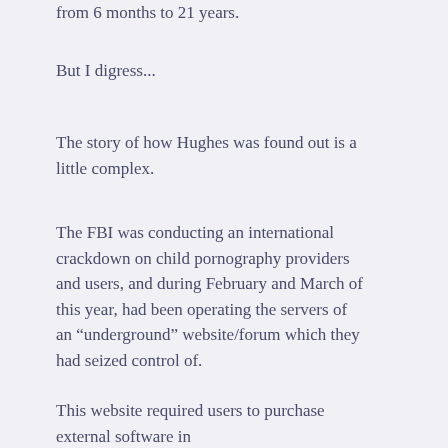from 6 months to 21 years.
But I digress...
The story of how Hughes was found out is a little complex.
The FBI was conducting an international crackdown on child pornography providers and users, and during February and March of this year, had been operating the servers of an “underground” website/forum which they had seized control of.
This website required users to purchase external software in